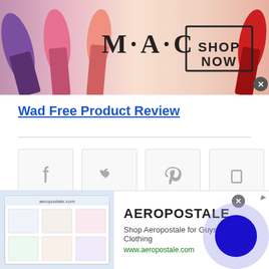[Figure (screenshot): MAC cosmetics advertisement banner showing lipsticks in purple, pink, coral colors on left and right, MAC logo in center, and 'SHOP NOW' box on right side with close button]
Wad Free Product Review
[Figure (screenshot): Social sharing buttons row: Facebook, Twitter, Pinterest, and one more icon, each in a light grey bordered square]
[Figure (screenshot): Author card with circular avatar photo of a woman with dark hair]
[Figure (screenshot): Aeropostale advertisement banner with clothing images on left, brand name AEROPOSTALE, tagline 'Shop Aeropostale for Guys and Girls Clothing', URL www.aeropostale.com, and decorative blue circle on right]